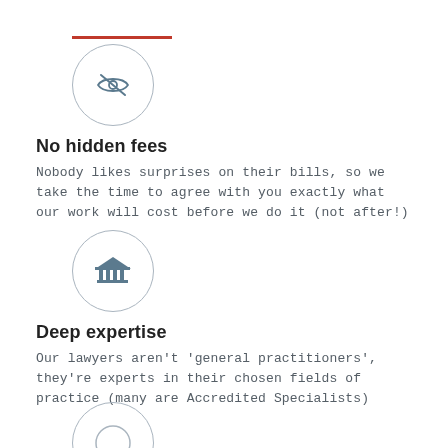[Figure (illustration): Red horizontal line decorative element at top]
[Figure (illustration): Circle icon with eye/privacy symbol for No hidden fees section]
No hidden fees
Nobody likes surprises on their bills, so we take the time to agree with you exactly what our work will cost before we do it (not after!)
[Figure (illustration): Circle icon with courthouse/institution building symbol for Deep expertise section]
Deep expertise
Our lawyers aren't 'general practitioners', they're experts in their chosen fields of practice (many are Accredited Specialists)
[Figure (illustration): Partial circle icon visible at bottom of page for third section]